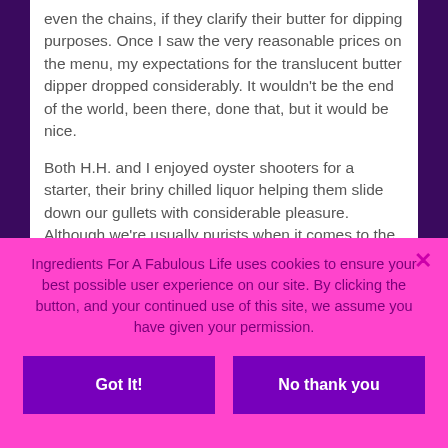even the chains, if they clarify their butter for dipping purposes.  Once I saw the very reasonable prices on the menu, my expectations for the translucent butter dipper dropped considerably.  It wouldn't be the end of the world, been there, done that, but it would be nice.
Both H.H. and I enjoyed oyster shooters for a starter, their briny chilled liquor helping them slide down our gullets with considerable pleasure.  Although we're usually purists when it comes to the raw bivalves,
Ingredients For A Fabulous Life uses cookies to ensure your best possible user experience on our site. By clicking the button, and your continued use of this site, we assume you have given your permission.